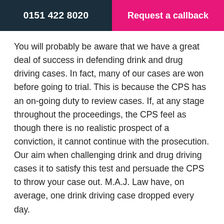0151 422 8020 | Request a callback
You will probably be aware that we have a great deal of success in defending drink and drug driving cases. In fact, many of our cases are won before going to trial. This is because the CPS has an on-going duty to review cases. If, at any stage throughout the proceedings, the CPS feel as though there is no realistic prospect of a conviction, it cannot continue with the prosecution. Our aim when challenging drink and drug driving cases it to satisfy this test and persuade the CPS to throw your case out. M.A.J. Law have, on average, one drink driving case dropped every day.
Useful Links
FCA - Financial Conduct Authority - The Financial